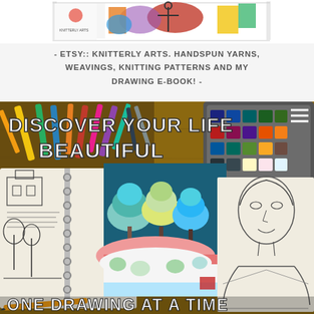[Figure (illustration): Top banner image showing colorful children's artwork with figures and the Knitterly Arts logo on white background]
- ETSY:: KNITTERLY ARTS. HANDSPUN YARNS, WEAVINGS, KNITTING PATTERNS AND MY DRAWING E-BOOK! -
[Figure (photo): Collage promotional image for a drawing e-book titled 'Discover Your Life Beautiful, One Drawing at a Time'. Shows art supplies (crayons, pencils, watercolor palette), open sketchbooks with pencil sketches of outdoor scenes, a colorful stylized tree artwork on dark teal background, and pencil portrait drawings. Text overlay reads DISCOVER YOUR LIFE BEAUTIFUL and ONE DRAWING AT A TIME.]